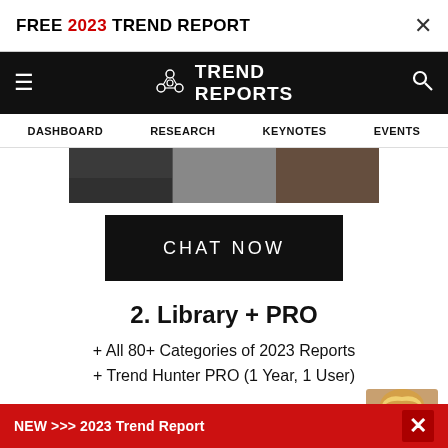FREE 2023 TREND REPORT
[Figure (screenshot): Trend Reports website navigation bar with logo, hamburger menu, and search icon on black background]
DASHBOARD  RESEARCH  KEYNOTES  EVENTS
[Figure (photo): Interior image strip showing venue/store]
CHAT NOW
2. Library + PRO
+ All 80+ Categories of 2023 Reports
+ Trend Hunter PRO (1 Year, 1 User)
[Figure (screenshot): Report documents and tablet screenshot at bottom of page, with customer service representative]
NEW >>> 2023 Trend Report